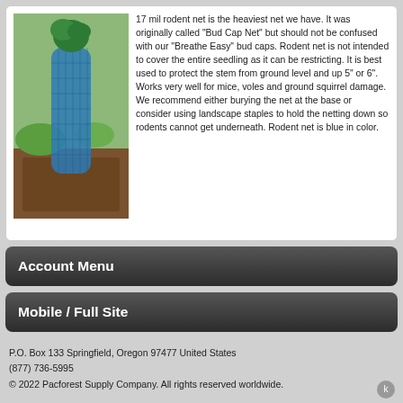[Figure (photo): A tree seedling wrapped in blue rodent netting/mesh, planted in soil with grass visible in background.]
17 mil rodent net is the heaviest net we have. It was originally called "Bud Cap Net" but should not be confused with our "Breathe Easy" bud caps. Rodent net is not intended to cover the entire seedling as it can be restricting. It is best used to protect the stem from ground level and up 5" or 6". Works very well for mice, voles and ground squirrel damage. We recommend either burying the net at the base or consider using landscape staples to hold the netting down so rodents cannot get underneath. Rodent net is blue in color.
Account Menu
Mobile / Full Site
P.O. Box 133 Springfield, Oregon 97477 United States
(877) 736-5995
© 2022 Pacforest Supply Company. All rights reserved worldwide.